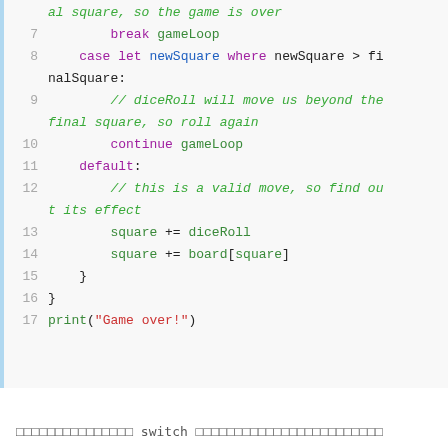[Figure (screenshot): Swift code snippet showing lines 7-17 of a game loop with switch statement, including break, case, continue, default, and print statements]
xxxxxxxxxxxxxxx switch xxxxxxxxxxxxxxxxxxxxxxxxxxxxxxxx